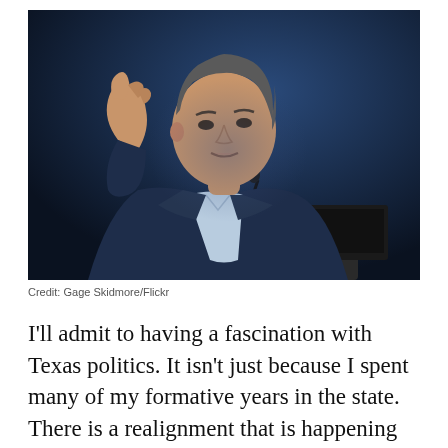[Figure (photo): A man in a dark suit with an open-collar light blue shirt stands at a podium with a microphone, gesturing with his right hand raised, speaking before a dark blue background.]
Credit: Gage Skidmore/Flickr
I'll admit to having a fascination with Texas politics. It isn't just because I spent many of my formative years in the state. There is a realignment that is happening in southern